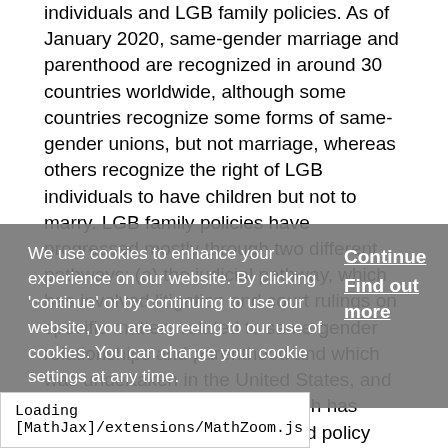individuals and LGB family policies. As of January 2020, same-gender marriage and parenthood are recognized in around 30 countries worldwide, although some countries recognize some forms of same-gender unions, but not marriage, whereas others recognize the right of LGB individuals to have children but not to marry. LGB family policies have progressed mostly through two different pathways: (a) the judicial pathway, which has involved litigation and court rulings on specific matters related to same-gender relationships and parenthood and which was undertaken in the United States, and (b) the legislative pathway, which has relied on political discussion and policy initiatives and was undertaken in the Iberian Peninsula (Portugal and Spain). The different pathways to equality in
We use cookies to enhance your experience on our website. By clicking 'continue' or by continuing to use our website, you are agreeing to our use of cookies. You can change your cookie settings at any time.
Continue
Find out more
Loading [MathJax]/extensions/MathZoom.js